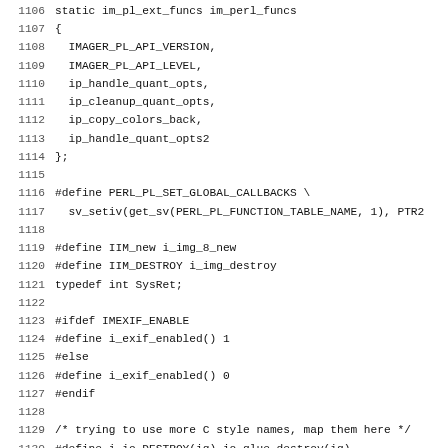[Figure (other): Source code listing in C/C++ with line numbers 1106-1138, showing struct initialization, preprocessor defines, typedefs, and macro definitions for an image processing library.]